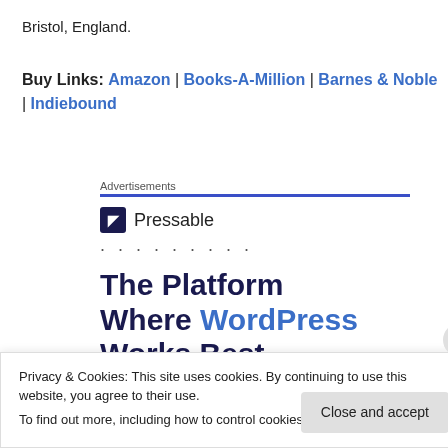Bristol, England.
Buy Links: Amazon | Books-A-Million | Barnes & Noble | Indiebound
[Figure (other): Pressable advertisement banner with logo, dots, and headline 'The Platform Where WordPress Works Best']
Privacy & Cookies: This site uses cookies. By continuing to use this website, you agree to their use. To find out more, including how to control cookies, see here: Cookie Policy